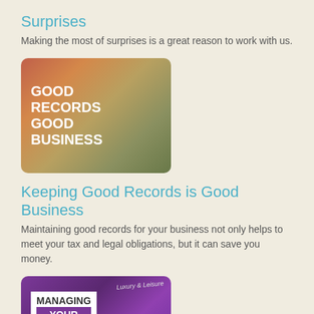Surprises
Making the most of surprises is a great reason to work with us.
[Figure (photo): Image of stacked colorful file folders/binders with bold white text overlay reading GOOD RECORDS GOOD BUSINESS]
Keeping Good Records is Good Business
Maintaining good records for your business not only helps to meet your tax and legal obligations, but it can save you money.
[Figure (photo): Image of a tablet/iPad showing a purple lifestyle magazine cover with white text overlay reading MANAGING YOUR LIFESTYLE]